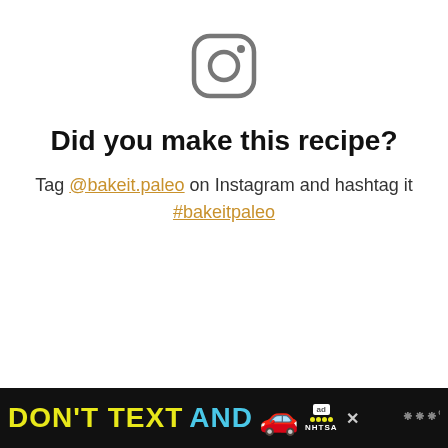[Figure (logo): Instagram logo icon in gray outline style]
Did you make this recipe?
Tag @bakeit.paleo on Instagram and hashtag it #bakeitpaleo
[Figure (infographic): Advertisement banner: DON'T TEXT AND [car emoji] ad NHTSA logo with close button and weather channel logo]